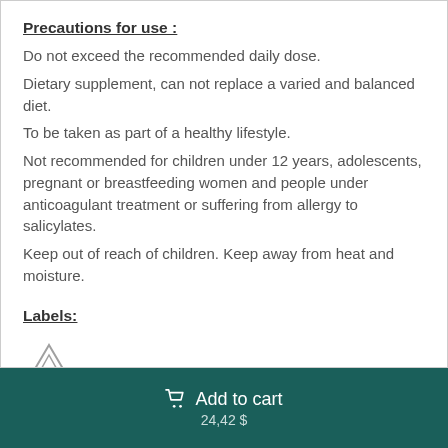Precautions for use :
Do not exceed the recommended daily dose.
Dietary supplement, can not replace a varied and balanced diet.
To be taken as part of a healthy lifestyle.
Not recommended for children under 12 years, adolescents, pregnant or breastfeeding women and people under anticoagulant treatment or suffering from allergy to salicylates.
Keep out of reach of children. Keep away from heat and moisture.
Labels:
[Figure (logo): Small mountain/triangle logo icon]
Add to cart  24,42 $